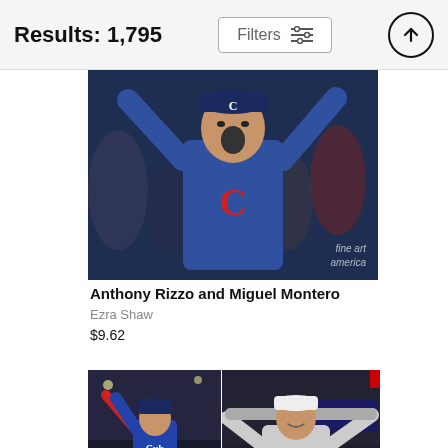Results: 1,795
Filters
[Figure (photo): Baseball player in Chicago Cubs blue jersey with arms raised celebrating, mouth open in excitement. Fine Art America watermark visible.]
Anthony Rizzo and Miguel Montero
Ezra Shaw
$9.62
[Figure (photo): Baseball player in Cubs uniform with arm raised, crowd in background]
[Figure (photo): Baseball player in Houston Astros jersey number 2 holding silver bat trophy at MLB All Star Game]